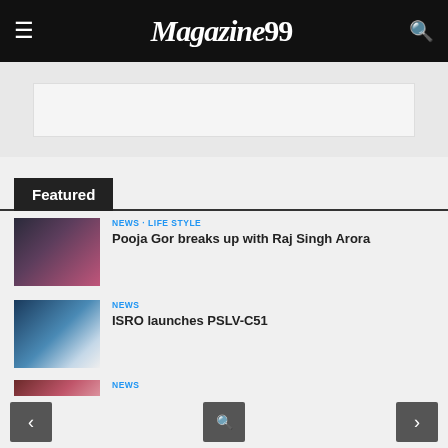Magazine99
Featured
NEWS · LIFE STYLE
Pooja Gor breaks up with Raj Singh Arora
NEWS
ISRO launches PSLV-C51
NEWS
Golden Globes 2021 is going to be virtual